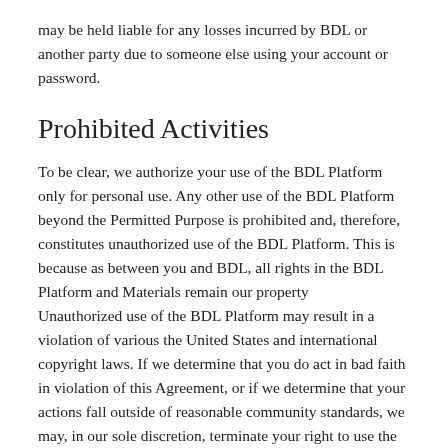may be held liable for any losses incurred by BDL or another party due to someone else using your account or password.
Prohibited Activities
To be clear, we authorize your use of the BDL Platform only for personal use. Any other use of the BDL Platform beyond the Permitted Purpose is prohibited and, therefore, constitutes unauthorized use of the BDL Platform. This is because as between you and BDL, all rights in the BDL Platform and Materials remain our property
Unauthorized use of the BDL Platform may result in a violation of various the United States and international copyright laws. If we determine that you do act in bad faith in violation of this Agreement, or if we determine that your actions fall outside of reasonable community standards, we may, in our sole discretion, terminate your right to use the BDL Platform. By way of example, you specifically agree that you shall not: